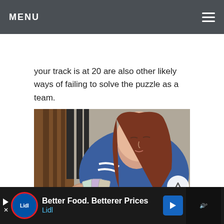MENU
your track is at 20 are also other likely ways of failing to solve the puzzle as a team.
[Figure (photo): A teenage girl with long red-brown hair, wearing a blue jersey, looking down at cards being held in hands at a table. Watermark reads SAHM Reviews.]
Better Food. Betterer Prices Lidl